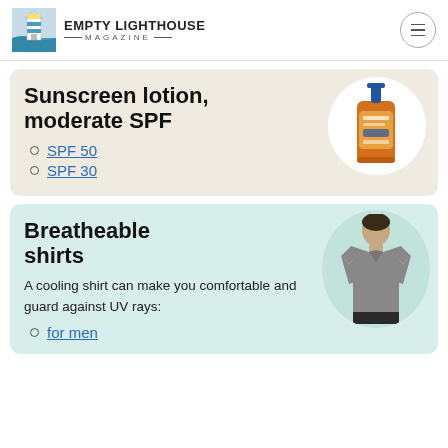EMPTY LIGHTHOUSE MAGAZINE
Sunscreen lotion, moderate SPF
SPF 50
SPF 30
[Figure (photo): Orange bottle of sunscreen lotion with a pump dispenser]
Breatheable shirts
A cooling shirt can make you comfortable and guard against UV rays:
for men
[Figure (photo): Man wearing a gray breatheable t-shirt]